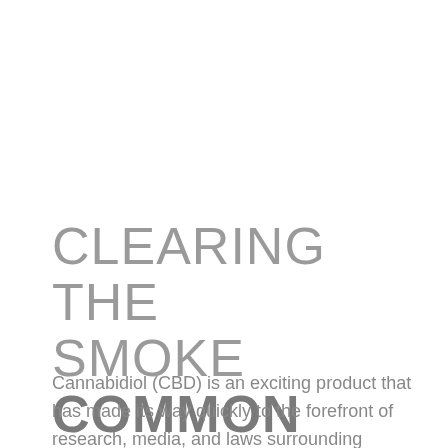CLEARING THE SMOKE COMMON CBD MYTHS
Cannabidiol (CBD) is an exciting product that has made its way quickly to the forefront of research, media, and laws surrounding